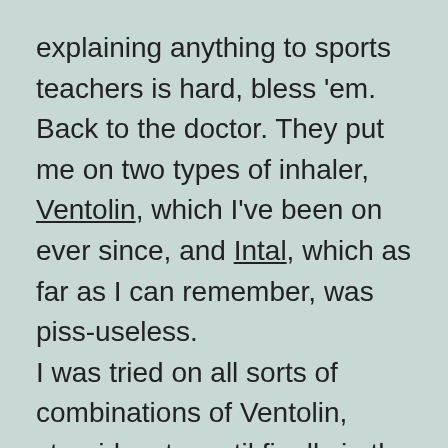explaining anything to sports teachers is hard, bless 'em.
Back to the doctor. They put me on two types of inhaler, Ventolin, which I've been on ever since, and Intal, which as far as I can remember, was piss-useless.
I was tried on all sorts of combinations of Ventolin, steroids, etc, until finally in the early 1990's I was prescribed a combination of Serevent and Becotide 100. I still have Ventolin around the place, but only for emergencies. Since then, I have lived a full